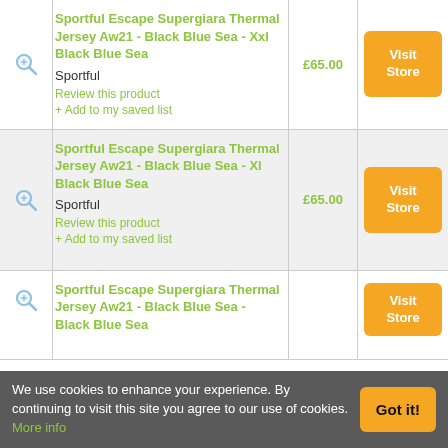Sportful Escape Supergiara Thermal Jersey Aw21 - Black Blue Sea - Xxl Black Blue Sea
Sportful
Review this product
+ Add to my saved list
£65.00
Visit Store
Sportful Escape Supergiara Thermal Jersey Aw21 - Black Blue Sea - Xl Black Blue Sea
Sportful
Review this product
+ Add to my saved list
£65.00
Visit Store
Sportful Escape Supergiara Thermal Jersey Aw21 - Black Blue Sea - Black Blue Sea
(partial)
Visit Store
We use cookies to enhance your experience. By continuing to visit this site you agree to our use of cookies. More info